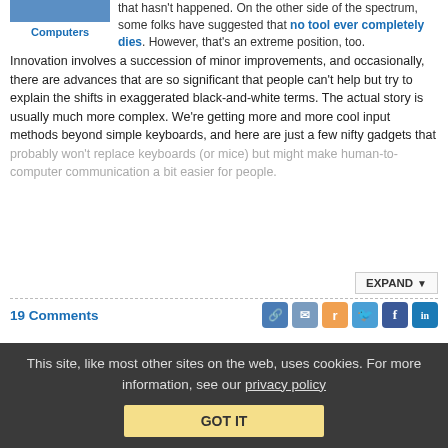[Figure (other): Blue image placeholder thumbnail]
Computers
that hasn't happened. On the other side of the spectrum, some folks have suggested that no tool ever completely dies. However, that's an extreme position, too. Innovation involves a succession of minor improvements, and occasionally, there are advances that are so significant that people can't help but try to explain the shifts in exaggerated black-and-white terms. The actual story is usually much more complex. We're getting more and more cool input methods beyond simple keyboards, and here are just a few nifty gadgets that probably won't replace keyboards (or mice) but might make human-to-computer communication a bit easier for people.
EXPAND
19 Comments
DailyDirt: Need More Input?
This site, like most other sites on the web, uses cookies. For more information, see our privacy policy
GOT IT